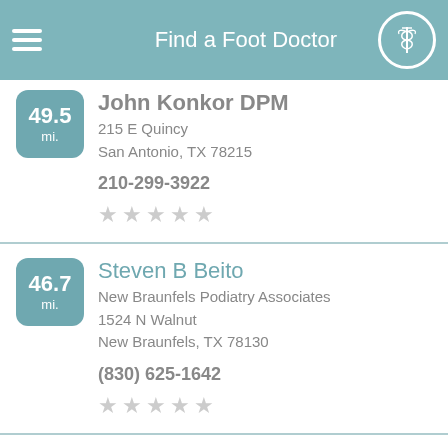Find a Foot Doctor
John Konkor DPM
215 E Quincy
San Antonio, TX 78215
210-299-3922
Steven B Beito
New Braunfels Podiatry Associates
1524 N Walnut
New Braunfels, TX 78130
(830) 625-1642
Neil A Campbell
PO Box 762